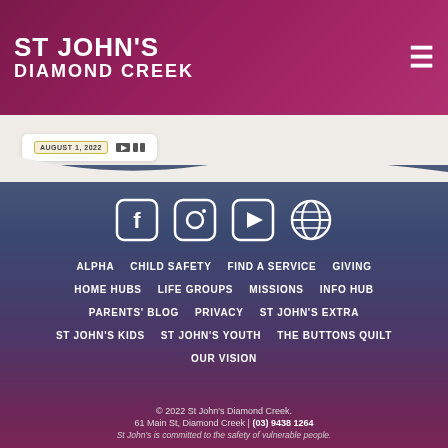ST JOHN'S DIAMOND CREEK
AUGUST 1, 2022
[Figure (infographic): Social media icons: Facebook, Instagram, YouTube, Globe/Website]
ALPHA   CHILD SAFETY   FIND A SERVICE   GIVING
HOME HUBS   LIFE GROUPS   MISSIONS   INFO HUB
PARENTS' BLOG   PRIVACY   ST JOHN'S EXTRA
ST JOHN'S KIDS   ST JOHN'S YOUTH   THE BUTTONS QUILT
OUR VISION
© 2022 St John's Diamond Creek. 61 Main St, Diamond Creek | (03) 9438 1264 St John's is committed to the safety of vulnerable people.